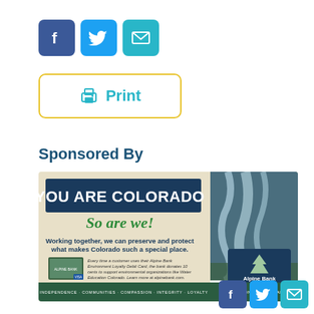[Figure (other): Social media icons: Facebook (blue), Twitter (light blue), Email (teal)]
[Figure (other): Print button with printer icon and text 'Print', yellow border]
Sponsored By
[Figure (other): Alpine Bank advertisement: 'YOU ARE COLORADO So are we! Working together, we can preserve and protect what makes Colorado such a special place.' with waterfall photo and Alpine Bank logo. Bottom bar: INDEPENDENCE · COMMUNITIES · COMPASSION · INTEGRITY · LOYALTY and 40 LOCATIONS IN COLORADO]
[Figure (other): Social media icons bottom right: Facebook, Twitter, Email]